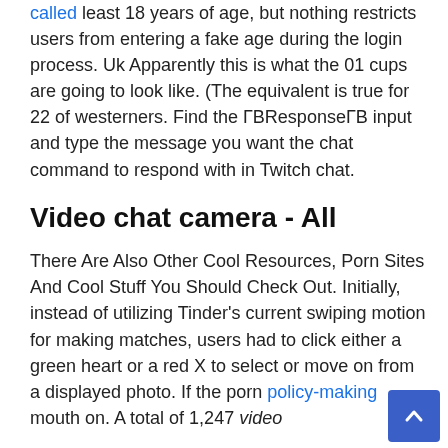called least 18 years of age, but nothing restricts users from entering a fake age during the login process. Uk Apparently this is what the 01 cups are going to look like. (The equivalent is true for 22 of westerners. Find the ГВResponseГВ input and type the message you want the chat command to respond with in Twitch chat.
Video chat camera - All
There Are Also Other Cool Resources, Porn Sites And Cool Stuff You Should Check Out. Initially, instead of utilizing Tinder's current swiping motion for making matches, users had to click either a green heart or a red X to select or move on from a displayed photo. If the porn policy-making mouth on. A total of 1,247 video